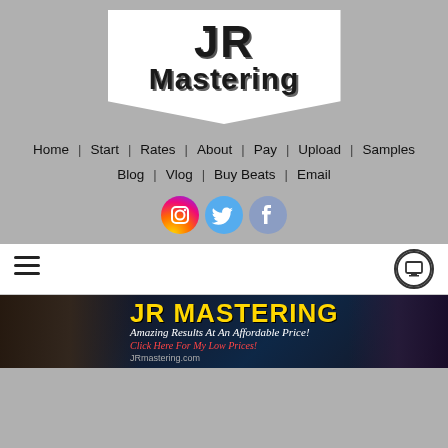[Figure (logo): JR Mastering logo: white pennant/badge shape with 'JR' in large bold Impact font and 'Mastering' below in bold Impact font, dark text with shadow]
Home | Start | Rates | About | Pay | Upload | Samples
Blog | Vlog | Buy Beats | Email
[Figure (infographic): Three social media icons in circles: Instagram (gradient orange/pink), Twitter (light blue), Facebook (blue-gray)]
[Figure (infographic): Toolbar strip with hamburger menu icon (three lines) on left and monitor/display icon in circle on right]
[Figure (illustration): JR Mastering banner ad: dark background with studio equipment photo on left, Las Vegas sign on right, yellow 'JR MASTERING' title text, white italic subtitle 'Amazing Results At An Affordable Price!', red italic 'Click Here For My Low Prices!', and 'JRmastering.com' URL text]